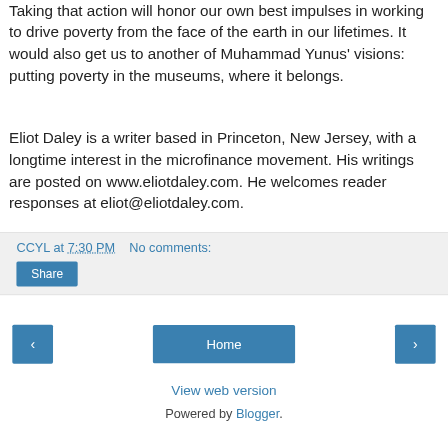Taking that action will honor our own best impulses in working to drive poverty from the face of the earth in our lifetimes. It would also get us to another of Muhammad Yunus' visions: putting poverty in the museums, where it belongs.
Eliot Daley is a writer based in Princeton, New Jersey, with a longtime interest in the microfinance movement. His writings are posted on www.eliotdaley.com. He welcomes reader responses at eliot@eliotdaley.com.
CCYL at 7:30 PM   No comments:
Share
Home
View web version
Powered by Blogger.